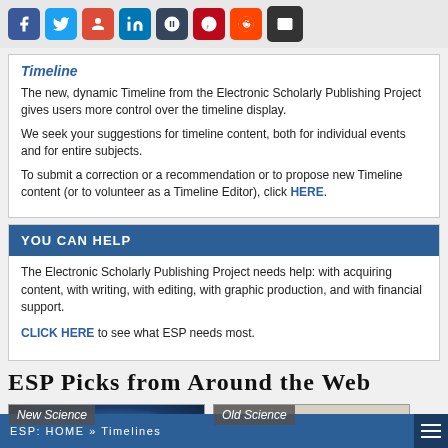[Figure (other): Social sharing icon bar with Facebook, Twitter, Google+, LinkedIn, Tumblr, Pinterest, Reddit, Email icons]
Timeline
The new, dynamic Timeline from the Electronic Scholarly Publishing Project gives users more control over the timeline display.
We seek your suggestions for timeline content, both for individual events and for entire subjects.
To submit a correction or a recommendation or to propose new Timeline content (or to volunteer as a Timeline Editor), click HERE.
YOU CAN HELP
The Electronic Scholarly Publishing Project needs help: with acquiring content, with writing, with editing, with graphic production, and with financial support.
CLICK HERE to see what ESP needs most.
ESP Picks from Around the Web
[Figure (photo): New Science: neural network glowing blue illustration]
[Figure (photo): Old Science: illustration of a dark bird (finch) on a branch]
ESP: HOME » Timelines